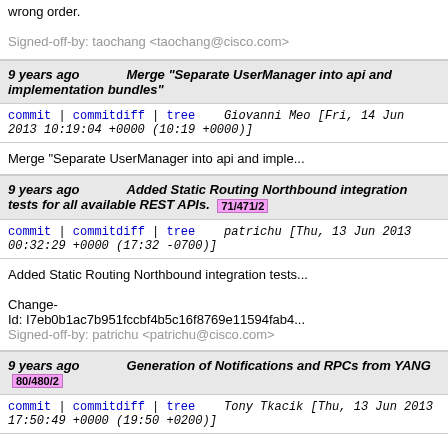wrong order.

Signed-off-by: taochang <taochang@cisco.com>
9 years ago  Merge "Separate UserManager into api and implementation bundles"
commit | commitdiff | tree   Giovanni Meo [Fri, 14 Jun 2013 10:19:04 +0000 (10:19 +0000)]
Merge "Separate UserManager into api and imple...
9 years ago  Added Static Routing Northbound integration tests for all available REST APIs.  71/471/2
commit | commitdiff | tree   patrichu [Thu, 13 Jun 2013 00:32:29 +0000 (17:32 -0700)]
Added Static Routing Northbound integration tests...

Change-Id: I7eb0b1ac7b951fccbf4b5c16f8769e11594fab4...
Signed-off-by: patrichu <patrichu@cisco.com>
9 years ago  Generation of Notifications and RPCs from YANG  80/480/2
commit | commitdiff | tree   Tony Tkacik [Thu, 13 Jun 2013 17:50:49 +0000 (19:50 +0200)]